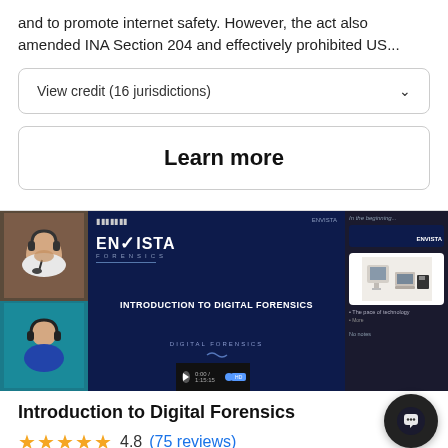and to promote internet safety. However, the act also amended INA Section 204 and effectively prohibited US...
View credit (16 jurisdictions)
Learn more
[Figure (screenshot): Screenshot of a webinar/e-learning platform showing an Envista Forensics presentation titled 'Introduction to Digital Forensics'. Left side shows a webcam feed of a presenter. Center shows the main slide with 'ENVISTA FORENSICS' logo and 'INTRODUCTION TO DIGITAL FORENSICS' title. Right panel shows slide thumbnails including an image of old computers.]
Introduction to Digital Forensics
★★★★★ 4.8 (75 reviews)